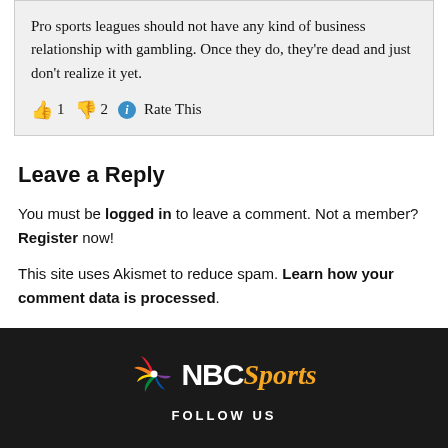Pro sports leagues should not have any kind of business relationship with gambling. Once they do, they're dead and just don't realize it yet.
👍 1 👎 2 ℹ Rate This
Leave a Reply
You must be logged in to leave a comment. Not a member? Register now!
This site uses Akismet to reduce spam. Learn how your comment data is processed.
[Figure (logo): NBC Sports logo with peacock emblem on dark background]
FOLLOW US